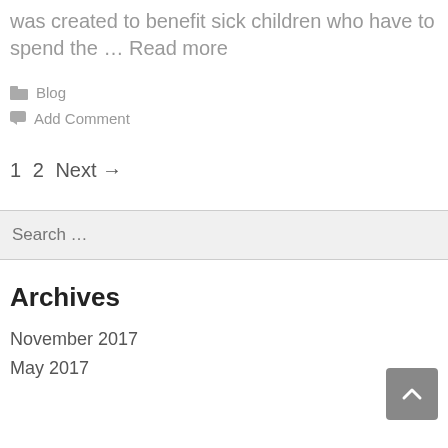was created to benefit sick children who have to spend the … Read more
Blog
Add Comment
1 2 Next →
Search …
Archives
November 2017
May 2017